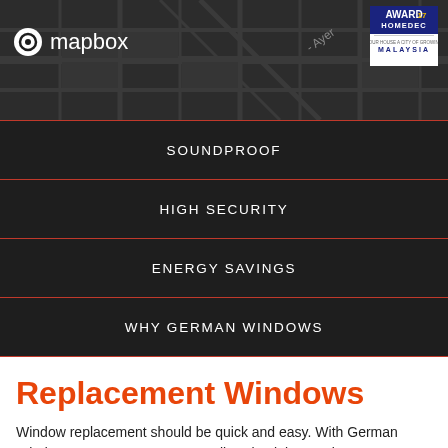[Figure (map): Mapbox map background showing street/city map with dark tiles. Mapbox logo in top-left, Homedec Award 2017 badge in top-right.]
SOUNDPROOF
HIGH SECURITY
ENERGY SAVINGS
WHY GERMAN WINDOWS
Replacement Windows
Window replacement should be quick and easy. With German Windows, you get a German quality, aluminium replacement window that's made to last and tailored to your apartment at Alpha Villa Apts.. Simply fill out the enquiry form below and we'll reach out to schedule an appointment. Not living at Alpha Villa Apts.? Check-out our other offers